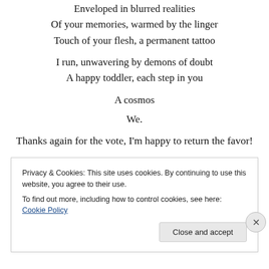Enveloped in blurred realities
Of your memories, warmed by the linger
Touch of your flesh, a permanent tattoo
I run, unwavering by demons of doubt
A happy toddler, each step in you
A cosmos
We.
Thanks again for the vote, I'm happy to return the favor!
Privacy & Cookies: This site uses cookies. By continuing to use this website, you agree to their use.
To find out more, including how to control cookies, see here: Cookie Policy